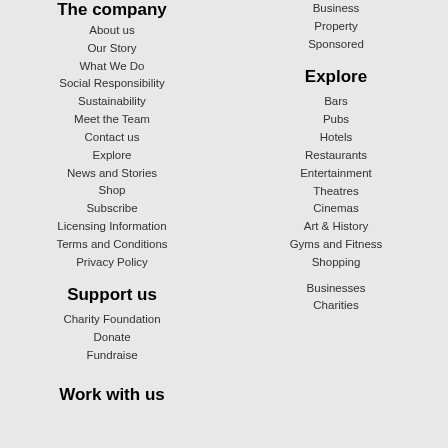The company
About us
Our Story
What We Do
Social Responsibility
Sustainability
Meet the Team
Contact us
Explore
News and Stories
Shop
Subscribe
Licensing Information
Terms and Conditions
Privacy Policy
Support us
Charity Foundation
Donate
Fundraise
Work with us
Business
Property
Sponsored
Explore
Bars
Pubs
Hotels
Restaurants
Entertainment
Theatres
Cinemas
Art & History
Gyms and Fitness
Shopping
Businesses
Charities